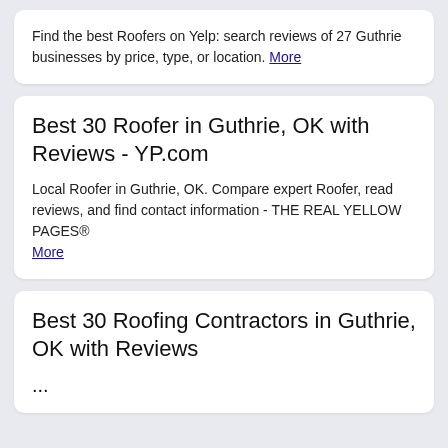Find the best Roofers on Yelp: search reviews of 27 Guthrie businesses by price, type, or location. More
Best 30 Roofer in Guthrie, OK with Reviews - YP.com
Local Roofer in Guthrie, OK. Compare expert Roofer, read reviews, and find contact information - THE REAL YELLOW PAGES® More
Best 30 Roofing Contractors in Guthrie, OK with Reviews ...